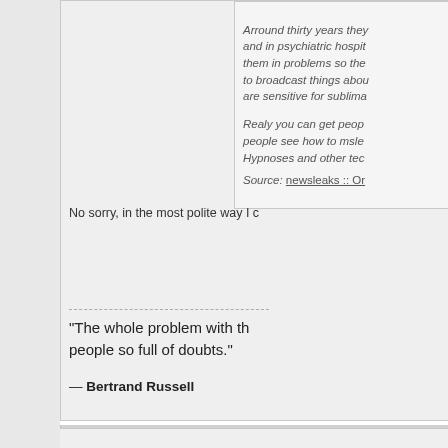Arround thirty years they and in psychiatric hospit them in problems so the to broadcast things abou are sensitive for sublima
Realy you can get peop people see how to msle Hypnoses and other tec
Source: newsleaks :: Or
No sorry, in the most polite way I c
“The whole problem with th people so full of doubts.”
— Bertrand Russell